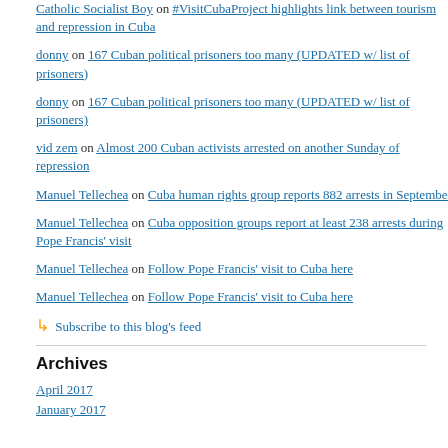Catholic Socialist Boy on #VisitCubaProject highlights link between tourism and repression in Cuba
donny on 167 Cuban political prisoners too many (UPDATED w/ list of prisoners)
donny on 167 Cuban political prisoners too many (UPDATED w/ list of prisoners)
vid zem on Almost 200 Cuban activists arrested on another Sunday of repression
Manuel Tellechea on Cuba human rights group reports 882 arrests in September
Manuel Tellechea on Cuba opposition groups report at least 238 arrests during Pope Francis' visit
Manuel Tellechea on Follow Pope Francis' visit to Cuba here
Manuel Tellechea on Follow Pope Francis' visit to Cuba here
Subscribe to this blog's feed
Archives
April 2017
January 2017
Since then the two women have be... are now held in Guatao women's p... Alejandro Muñoz González is bein... prison. Both women are reported t... was suffering a kidney problem be... According to her daughter, Niurka ... fits. The women are allowed visits ... González every two weeks.
Although all three have access to a... been charged with. Relatives told A... have accused Sonia Garro Alfonso... but none of them has been formally... when they will be put on trial. They... visit of the Pope Benedict XVI to C... the Ladies in White, and that it is ir... critics.
Garro and her husband were later charge... Garro and 14 years for Munoz, which wou... down to Cuban opposition activists since ...
They had been set to stand trial June 30,...
This week, Garro complained to Radio Ma... been advised of the status of any proceed...
Posted by Marc R. Masferrer on July 31, 2014 at
Tweet